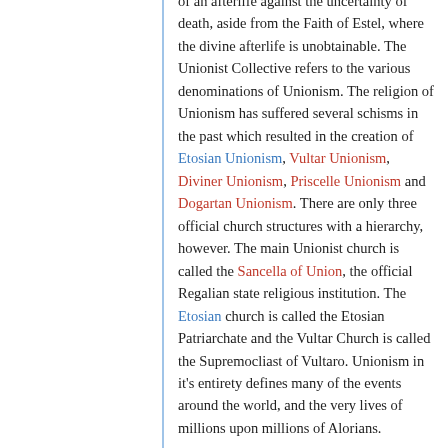of an afterlife against the uncertainty of death, aside from the Faith of Estel, where the divine afterlife is unobtainable. The Unionist Collective refers to the various denominations of Unionism. The religion of Unionism has suffered several schisms in the past which resulted in the creation of Etosian Unionism, Vultar Unionism, Diviner Unionism, Priscelle Unionism and Dogartan Unionism. There are only three official church structures with a hierarchy, however. The main Unionist church is called the Sancella of Union, the official Regalian state religious institution. The Etosian church is called the Etosian Patriarchate and the Vultar Church is called the Supremocliast of Vultaro. Unionism in it's entirety defines many of the events around the world, and the very lives of millions upon millions of Alorians.